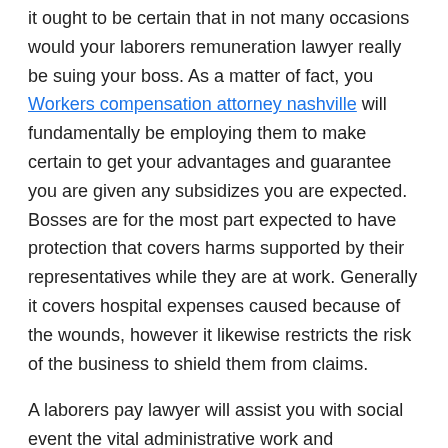it ought to be certain that in not many occasions would your laborers remuneration lawyer really be suing your boss. As a matter of fact, you Workers compensation attorney nashville will fundamentally be employing them to make certain to get your advantages and guarantee you are given any subsidizes you are expected. Bosses are for the most part expected to have protection that covers harms supported by their representatives while they are at work. Generally it covers hospital expenses caused because of the wounds, however it likewise restricts the risk of the business to shield them from claims.
A laborers pay lawyer will assist you with social event the vital administrative work and documentation of your wounds to contact the delegates of the organization and afterward iron out the subtleties of your case.
The greatest advantage will let another person who is an expert deal with each of the subtleties while you recover. The matter of